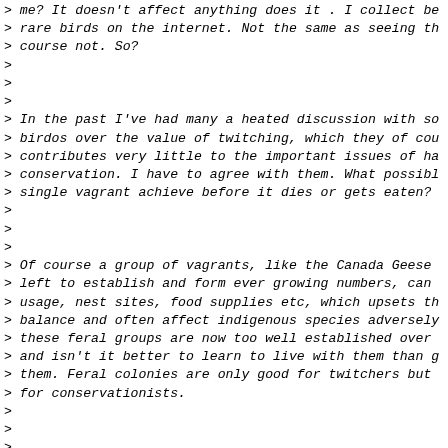> me? It doesn't affect anything does it . I collect be
> rare birds on the internet. Not the same as seeing th
> course not. So?
>
>
>
> In the past I've had many a heated discussion with so
> birdos over the value of twitching, which they of cou
> contributes very little to the important issues of ha
> conservation. I have to agree with them. What possibl
> single vagrant achieve before it dies or gets eaten?
>
>
>
> Of course a group of vagrants, like the Canada Geese
> left to establish and form ever growing numbers, can
> usage, nest sites, food supplies etc, which upsets th
> balance and often affect indigenous species adversely
> these feral groups are now too well established over
> and isn't it better to learn to live with them than g
> them. Feral colonies are only good for twitchers but
> for conservationists.
>
>
>
> I don't understand how my drop off in zeal has come a
> of twitching might suggest that "Aha, at last he's co
> I don't accept that. The thought of seeing a new bird
> , even exciting, but I just can't be bothered going a
> Googled the creek where the Widgeon was seen in WA, a